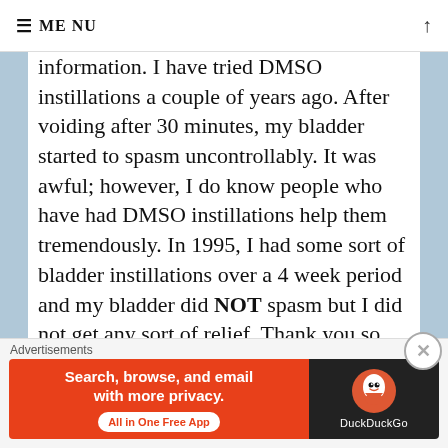≡ MENU  ↑
information. I have tried DMSO instillations a couple of years ago. After voiding after 30 minutes, my bladder started to spasm uncontrollably. It was awful; however, I do know people who have had DMSO instillations help them tremendously. In 1995, I had some sort of bladder instillations over a 4 week period and my bladder did NOT spasm but I did not get any sort of relief. Thank you so
Advertisements
[Figure (screenshot): DuckDuckGo advertisement banner: orange left side reading 'Search, browse, and email with more privacy. All in One Free App', dark right side with DuckDuckGo duck logo and 'DuckDuckGo' text.]